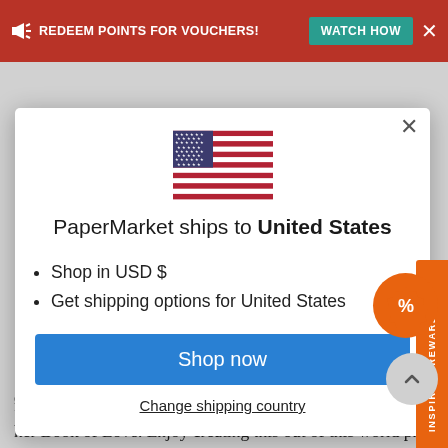REDEEM POINTS FOR VOUCHERS! WATCH HOW
[Figure (screenshot): Modal dialog showing US flag, text 'PaperMarket ships to United States', bullet list with 'Shop in USD $' and 'Get shipping options for United States', a blue 'Shop now' button, and a 'Change shipping country' link]
feelings Merdrey wishes to invoke in the person who receives her Book of Love. Enjoy creating this out of this world project